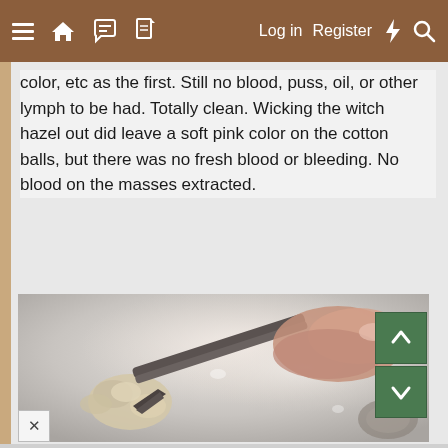Navigation bar with menu, home, chat, document icons and Log in, Register, bolt, search links
color, etc as the first. Still no blood, puss, oil, or other lymph to be had. Totally clean. Wicking the witch hazel out did leave a soft pink color on the cotton balls, but there was no fresh blood or bleeding. No blood on the masses extracted.
[Figure (photo): Close-up photo of tweezers held by a hand, gripping a small whitish/tan extracted mass, against a light background. Green up and down navigation arrow buttons visible on the right side of the image.]